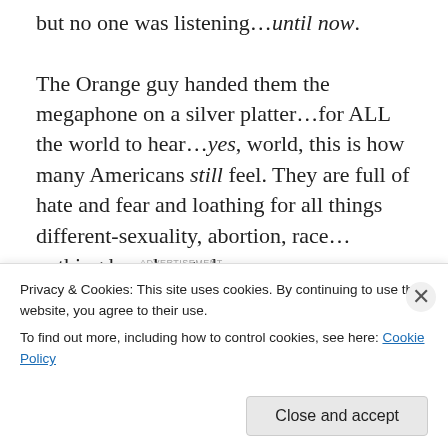but no one was listening…until now.
The Orange guy handed them the megaphone on a silver platter…for ALL the world to hear…yes, world, this is how many Americans still feel. They are full of hate and fear and loathing for all things different-sexuality, abortion, race…nothing has changed.
[Figure (other): WordPress advertisement: 'Need a website quickly – and on a budget?' with WordPress logo]
And as for that lady…I wouldn't give her that dignified title
Privacy & Cookies: This site uses cookies. By continuing to use this website, you agree to their use.
To find out more, including how to control cookies, see here: Cookie Policy